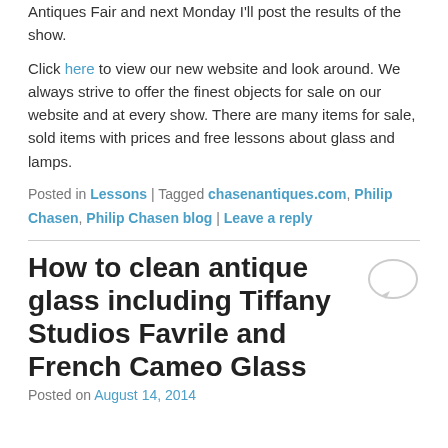Antiques Fair and next Monday I'll post the results of the show.
Click here to view our new website and look around. We always strive to offer the finest objects for sale on our website and at every show. There are many items for sale, sold items with prices and free lessons about glass and lamps.
Posted in Lessons | Tagged chasenantiques.com, Philip Chasen, Philip Chasen blog | Leave a reply
How to clean antique glass including Tiffany Studios Favrile and French Cameo Glass
Posted on August 14, 2014